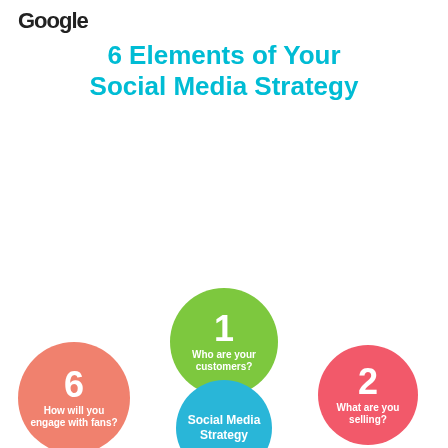Google
6 Elements of Your Social Media Strategy
[Figure (infographic): Six colored circles arranged around a central circle labeled 'Social Media Strategy'. Each outer circle is numbered 1-6 with a question: 1-Who are your customers? (green), 2-What are you selling? (red), 3-Where is your audience? (purple), 4-When & how often (yellow), 5-Why should they choose you over your competition? (magenta), 6-How will you engage with fans? (salmon/orange).]